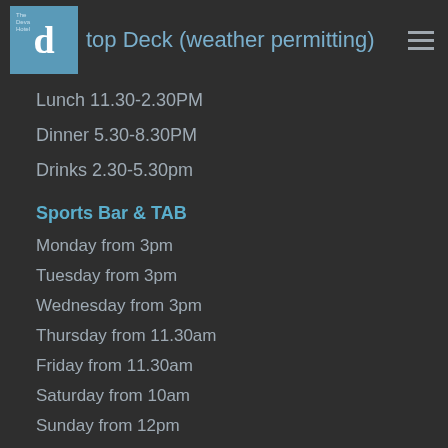top Deck (weather permitting)
Lunch 11.30-2.30PM
Dinner 5.30-8.30PM
Drinks 2.30-5.30pm
Sports Bar & TAB
Monday from 3pm
Tuesday from 3pm
Wednesday from 3pm
Thursday from 11.30am
Friday from 11.30am
Saturday from 10am
Sunday from 12pm